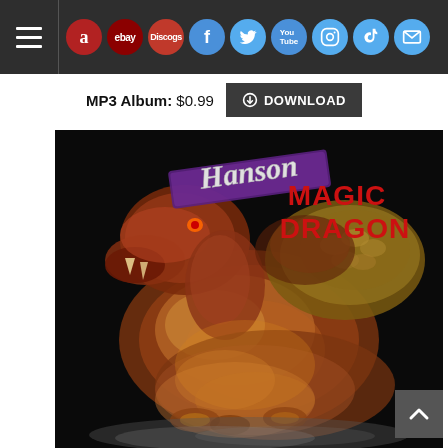Navigation bar with hamburger menu, Amazon, eBay, Discogs, Facebook, Twitter, YouTube, Instagram, TikTok, Mail icons
MP3 Album: $0.99  DOWNLOAD
[Figure (photo): Album cover for Hanson - Magic Dragon. Shows a glass/crystal dragon sculpture in amber/red tones on a black background. Text reads 'Hanson' in stylized script and 'MAGIC DRAGON' in bold red letters.]